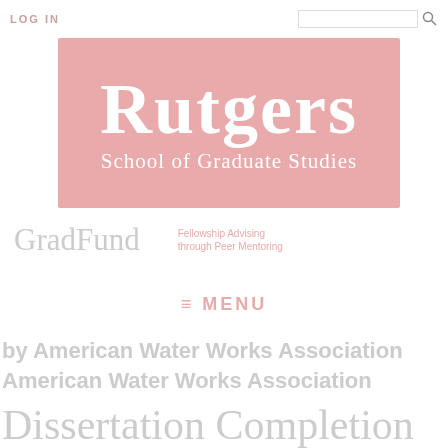LOG IN
[Figure (logo): Rutgers School of Graduate Studies logo on pink/salmon background with white serif text]
GradFund  Fellowship Advising through Peer Mentoring
≡ MENU
by American Water Works Association
American Water Works Association
Dissertation Completion vs.